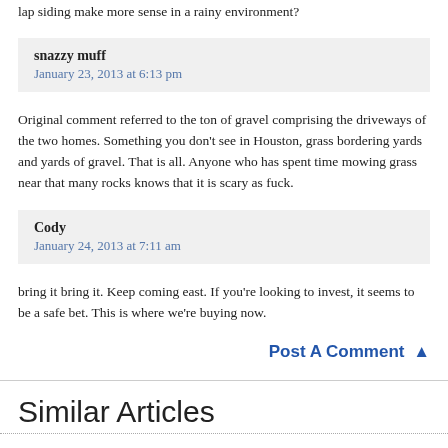lap siding make more sense in a rainy environment?
snazzy muff
January 23, 2013 at 6:13 pm
Original comment referred to the ton of gravel comprising the driveways of the two homes. Something you don't see in Houston, grass bordering yards and yards of gravel. That is all. Anyone who has spent time mowing grass near that many rocks knows that it is scary as fuck.
Cody
January 24, 2013 at 7:11 am
bring it bring it. Keep coming east. If you're looking to invest, it seems to be a safe bet. This is where we're buying now.
Post A Comment ▲
Similar Articles
Houston Home Listing Photo of the Day: The